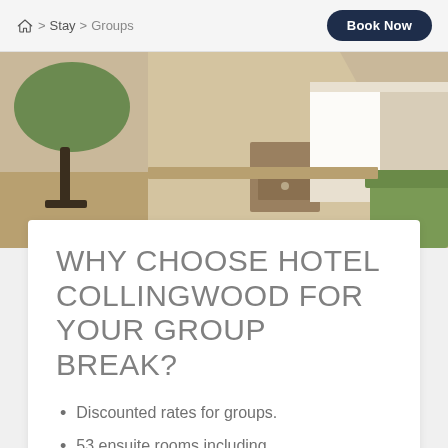Stay > Groups | Book Now
[Figure (photo): Hotel room interior showing a lamp, desk, mirror, bed with white linens, and green upholstered chair]
WHY CHOOSE HOTEL COLLINGWOOD FOR YOUR GROUP BREAK?
Discounted rates for groups.
53 ensuite rooms including double, twin and single rooms.